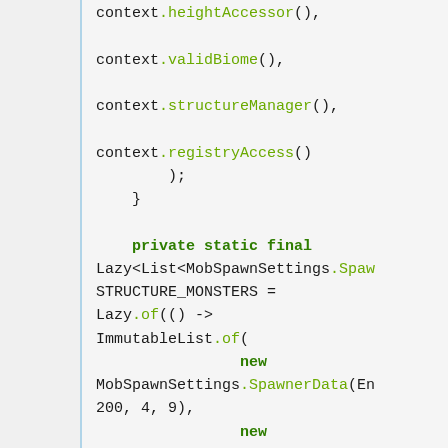context.heightAccessor(),

context.validBiome(),

context.structureManager(),

context.registryAccess()
        );
    }

    private static final
Lazy<List<MobSpawnSettings.Spaw
STRUCTURE_MONSTERS =
Lazy.of(() ->
ImmutableList.of(
                new
MobSpawnSettings.SpawnerData(En
200, 4, 9),
                new
MobSpawnSettings.SpawnerData(En
200, 4, 9)
        ));

    public static void
setupStructureSpawns(final